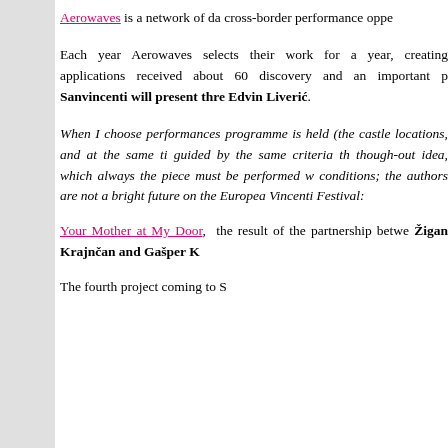Aerowaves is a network of da cross-border performance oppe
Each year Aerowaves selects their work for a year, creating applications received about 60 discovery and an important p Sanvincenti will present thre Edvin Liverić.
When I choose performances programme is held (the castle locations, and at the same ti guided by the same criteria th though-out idea, which always the piece must be performed w conditions; the authors are not a bright future on the Europea Vincenti Festival:
Your Mother at My Door, the result of the partnership betwe Žigan Krajnčan and Gašper K
The fourth project coming to S